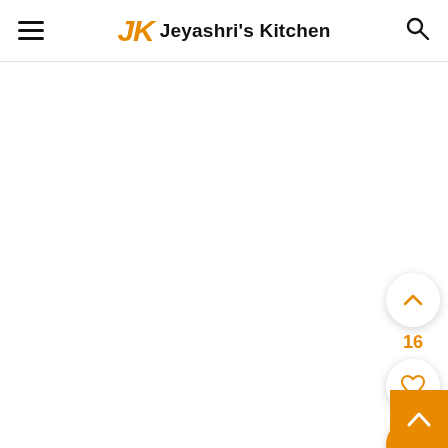Jeyashri's Kitchen
[Figure (screenshot): Website header with hamburger menu on the left, JK logo and Jeyashri's Kitchen text in center, search icon on right]
[Figure (screenshot): Floating action buttons on right side: up-chevron button (white circle), count 16, heart/like button (white circle), search button (orange circle), and scroll-to-top button (orange square, bottom right)]